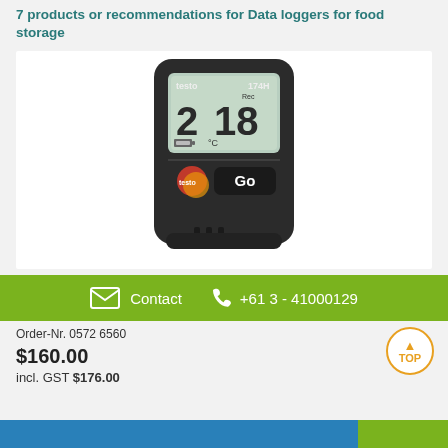7 products or recommendations for Data loggers for food storage
[Figure (photo): Testo 174H data logger device with LCD screen showing '2 18', Rec indicator, battery icon, testo logo button, and Go button on dark body]
Contact   +61 3 - 41000129
Order-Nr. 0572 6560
$160.00
incl. GST  $176.00